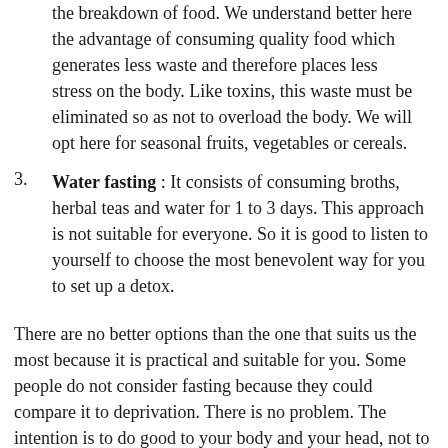the breakdown of food. We understand better here the advantage of consuming quality food which generates less waste and therefore places less stress on the body. Like toxins, this waste must be eliminated so as not to overload the body. We will opt here for seasonal fruits, vegetables or cereals.
3. Water fasting : It consists of consuming broths, herbal teas and water for 1 to 3 days. This approach is not suitable for everyone. So it is good to listen to yourself to choose the most benevolent way for you to set up a detox.
There are no better options than the one that suits us the most because it is practical and suitable for you. Some people do not consider fasting because they could compare it to deprivation. There is no problem. The intention is to do good to your body and your head, not to abuse them.
ACT ON FOOD BUT NOT ONLY